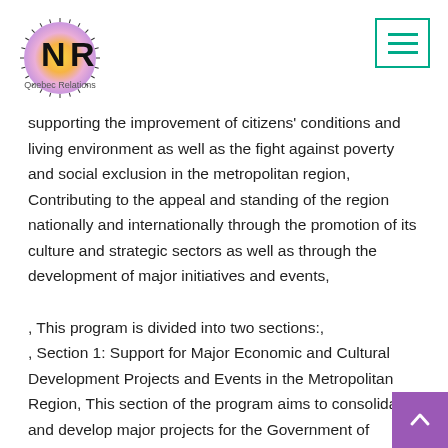Quebec Relations logo and navigation menu
supporting the improvement of citizens' conditions and living environment as well as the fight against poverty and social exclusion in the metropolitan region, Contributing to the appeal and standing of the region nationally and internationally through the promotion of its culture and strategic sectors as well as through the development of major initiatives and events, , This program is divided into two sections:, , Section 1: Support for Major Economic and Cultural Development Projects and Events in the Metropolitan Region, This section of the program aims to consolidate and develop major projects for the Government of Quebec, the Montreal Metropolitan Community and the City of Montreal by: , Supporting festivals and major cultural, sports and business events taking place throughout the year, Supporting the secretariats of